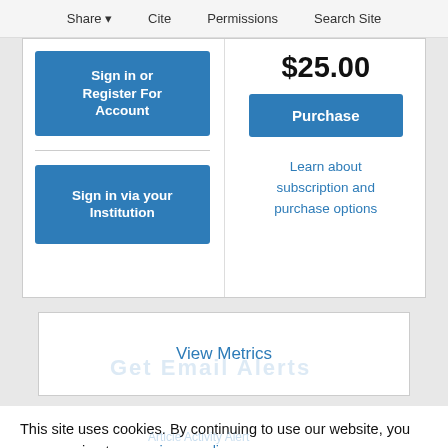Share  Cite  Permissions  Search Site
Sign in or Register For Account
Sign in via your Institution
$25.00
Purchase
Learn about subscription and purchase options
View Metrics
This site uses cookies. By continuing to use our website, you are agreeing to our privacy policy.
Accept